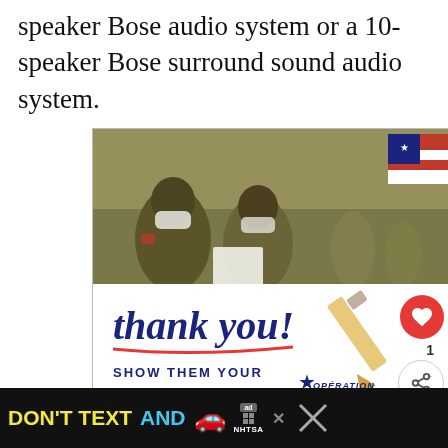speaker Bose audio system or a 10-speaker Bose surround sound audio system.
[Figure (infographic): Advertisement: Operation Gratitude 'Thank you! Show Them Your Support' ad featuring photo of masked soldiers and cursive thank you text with pencil graphic and American flag]
[Figure (infographic): Bottom banner advertisement: 'DON'T TEXT AND' with car emoji and NHTSA branding on black background]